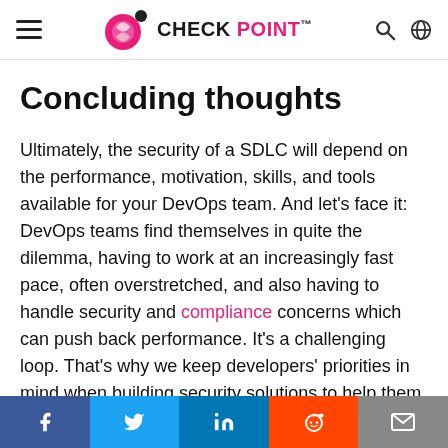CHECK POINT
Concluding thoughts
Ultimately, the security of a SDLC will depend on the performance, motivation, skills, and tools available for your DevOps team. And let's face it: DevOps teams find themselves in quite the dilemma, having to work at an increasingly fast pace, often overstretched, and also having to handle security and compliance concerns which can push back performance. It's a challenging loop. That's why we keep developers' priorities in mind when building security solutions to help them stay in control and